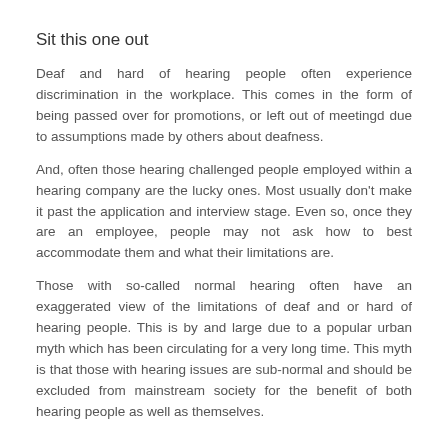Sit this one out
Deaf and hard of hearing people often experience discrimination in the workplace. This comes in the form of being passed over for promotions, or left out of meetingd due to assumptions made by others about deafness.
And, often those hearing challenged people employed within a hearing company are the lucky ones. Most usually don’t make it past the application and interview stage. Even so, once they are an employee, people may not ask how to best accommodate them and what their limitations are.
Those with so-called normal hearing often have an exaggerated view of the limitations of deaf and or hard of hearing people. This is by and large due to a popular urban myth which has been circulating for a very long time. This myth is that those with hearing issues are sub-normal and should be excluded from mainstream society for the benefit of both hearing people as well as themselves.
Less than normal, not quite
Is this an exaggeration? Judge for yourself, it was not so long ago